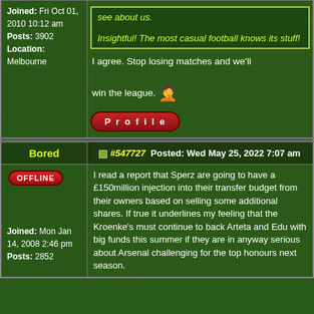Joined: Fri Oct 01, 2010 10:12 am
Posts: 3902
Location: Melbourne
see about us.
Insightful! The most casual football knows its stuff!
I agree. Stop losing matches and we'll win the league.
Profile
Bored
#547727  Posted: Wed May 25, 2022 7:07 am
OFFLINE
Joined: Mon Jan 14, 2008 2:46 pm
Posts: 2852
I read a report that Sperz are going to have a £150million injection into their transfer budget from their owners based on selling some additional shares. If true it underlines my feeling that the Kroenke's must continue to back Arteta and Edu with big funds this summer if they are in anyway serious about Arsenal challenging for the top honours next season.